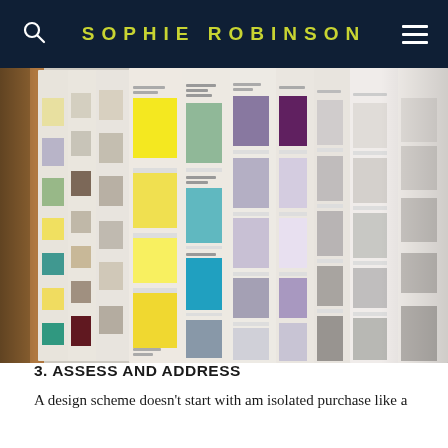SOPHIE ROBINSON
[Figure (photo): A row of paint color swatch booklets/fan decks fanned out, showing various color swatches including yellows, greens, blues, purples, grays and neutrals.]
3. ASSESS AND ADDRESS
A design scheme doesn't start with am isolated purchase like a